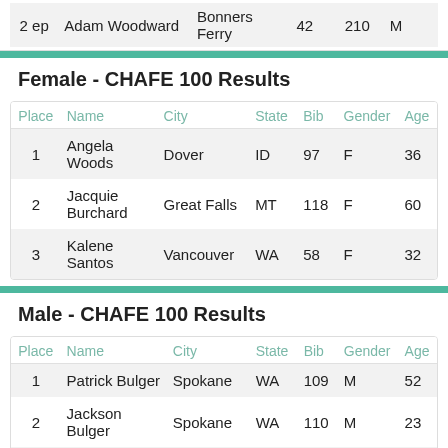| Place | Name | City | State | Bib | Gender | Age |
| --- | --- | --- | --- | --- | --- | --- |
| 1 | Angela Woods | Dover | ID | 97 | F | 36 |
| 2 | Jacquie Burchard | Great Falls | MT | 118 | F | 60 |
| 3 | Kalene Santos | Vancouver | WA | 58 | F | 32 |
Female - CHAFE 100 Results
Male - CHAFE 100 Results
| Place | Name | City | State | Bib | Gender | Age |
| --- | --- | --- | --- | --- | --- | --- |
| 1 | Patrick Bulger | Spokane | WA | 109 | M | 52 |
| 2 | Jackson Bulger | Spokane | WA | 110 | M | 23 |
| 3 | Scott Richardson | Hope | ID | 31 | M | 42 |
| 4 | Robert Atkins | Liberty Lake | WA | 149 | M | 63 |